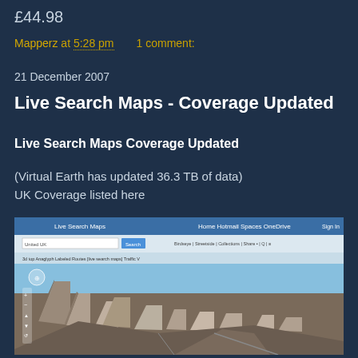£44.98
Mapperz at 5:28 pm    1 comment:
21 December 2007
Live Search Maps - Coverage Updated
Live Search Maps Coverage Updated
(Virtual Earth has updated 36.3 TB of data)
UK Coverage listed here
[Figure (screenshot): Screenshot of Live Search Maps (Virtual Earth) showing a 3D aerial/bird's eye view of an urban area with buildings, roads, and a browser toolbar with search interface at the top]